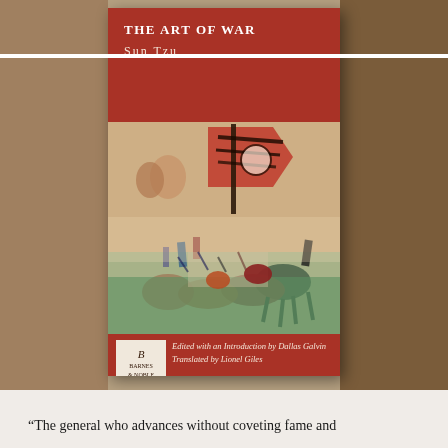[Figure (photo): Photograph of a Barnes & Noble Classics edition of 'The Art of War' by Sun Tzu, placed on a wooden surface. The book cover features a dark red/crimson header area with the title 'THE ART OF WAR' and author 'Sun Tzu' in white text, a central painted battle scene artwork showing warriors on horseback and a large flag, and a footer with a Barnes & Noble Classics logo and credits reading 'Edited with an Introduction by Dallas Galvin' and 'Translated by Lionel Giles'.]
“The general who advances without coveting fame and